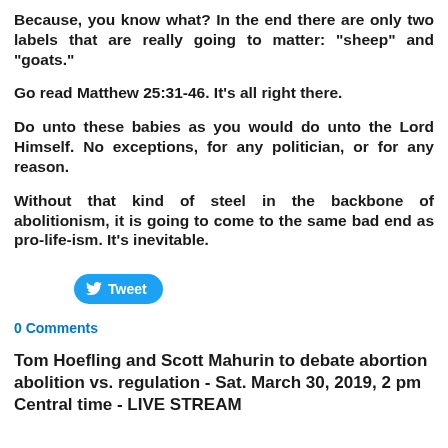Because, you know what? In the end there are only two labels that are really going to matter: "sheep" and "goats."
Go read Matthew 25:31-46. It's all right there.
Do unto these babies as you would do unto the Lord Himself. No exceptions, for any politician, or for any reason.
Without that kind of steel in the backbone of abolitionism, it is going to come to the same bad end as pro-life-ism. It's inevitable.
[Figure (other): Twitter Tweet button]
0 Comments
Tom Hoefling and Scott Mahurin to debate abortion abolition vs. regulation - Sat. March 30, 2019, 2 pm Central time - LIVE STREAM